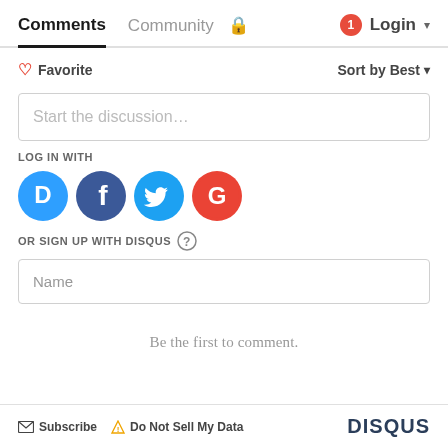Comments  Community  🔒  1  Login
♡ Favorite   Sort by Best
Start the discussion…
LOG IN WITH
[Figure (infographic): Social login icons: Disqus (blue circle with D), Facebook (dark blue circle with f), Twitter (light blue circle with bird), Google (red/white circle with G)]
OR SIGN UP WITH DISQUS ?
Name
Be the first to comment.
✉ Subscribe  ⚠ Do Not Sell My Data   DISQUS